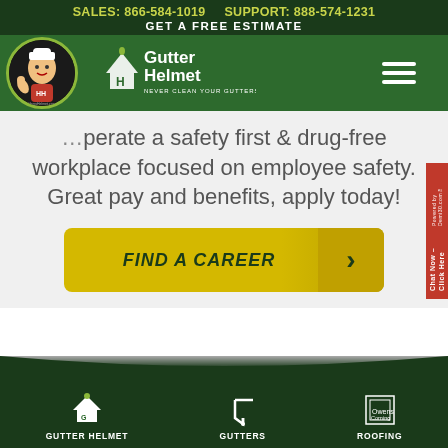SALES: 866-584-1019    SUPPORT: 888-574-1231
GET A FREE ESTIMATE
[Figure (logo): Gutter Helmet logo with Harry Helmet mascot and navigation bar]
perate a safety first & drug-free workplace focused on employee safety. Great pay and benefits, apply today!
FIND A CAREER
GUTTER HELMET    GUTTERS    ROOFING